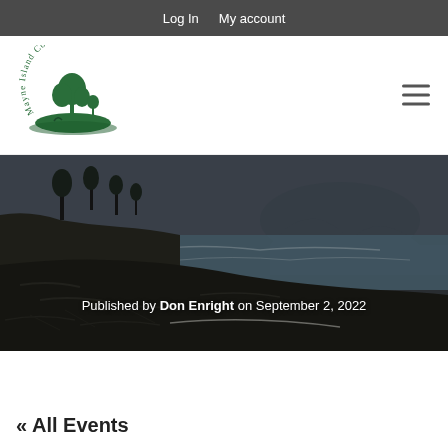Log In   My account
[Figure (logo): Mayne Island Conservancy logo — circular arc text with green tree and island silhouette illustration]
Published by Don Enright on September 2, 2022
[Figure (photo): Coastal rocky shoreline with trees on cliff edge, calm ocean water, and mountain in background under overcast sky — dark moody tone]
« All Events